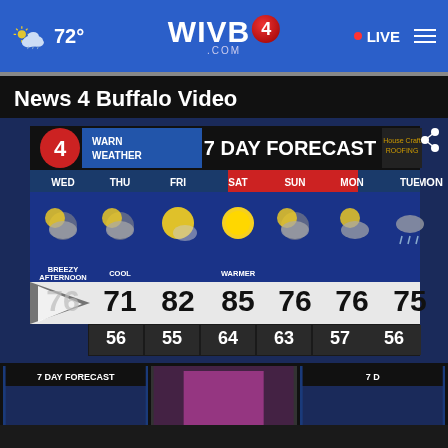☁ 72° | WIVB4.COM | • LIVE ≡
News 4 Buffalo Video
[Figure (screenshot): 7 Day Forecast weather graphic showing WED 76/56 BREEZY AFTERNOON, THU 71/55 COOL, FRI 82/64, SAT 85/63 WARMER, SUN 76/57, MON 76/56, TUE 75/56 with weather icons for each day]
[Figure (screenshot): Thumbnail: 7 DAY FORECAST weather video]
[Figure (photo): Thumbnail: person in pink/magenta clothing]
[Figure (screenshot): Thumbnail: 7 D (partial weather forecast)]